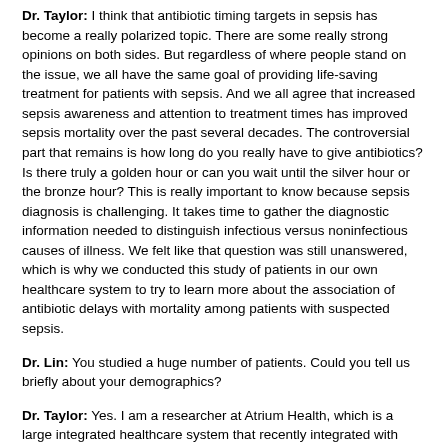Dr. Taylor: I think that antibiotic timing targets in sepsis has become a really polarized topic. There are some really strong opinions on both sides. But regardless of where people stand on the issue, we all have the same goal of providing life-saving treatment for patients with sepsis. And we all agree that increased sepsis awareness and attention to treatment times has improved sepsis mortality over the past several decades. The controversial part that remains is how long do you really have to give antibiotics? Is there truly a golden hour or can you wait until the silver hour or the bronze hour? This is really important to know because sepsis diagnosis is challenging. It takes time to gather the diagnostic information needed to distinguish infectious versus noninfectious causes of illness. We felt like that question was still unanswered, which is why we conducted this study of patients in our own healthcare system to try to learn more about the association of antibiotic delays with mortality among patients with suspected sepsis.
Dr. Lin: You studied a huge number of patients. Could you tell us briefly about your demographics?
Dr. Taylor: Yes. I am a researcher at Atrium Health, which is a large integrated healthcare system that recently integrated with